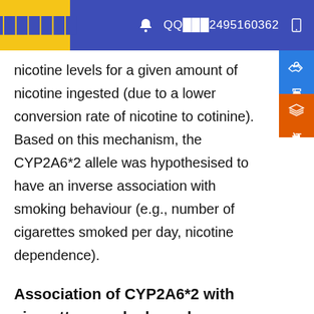███████   QQ███2495160362
nicotine levels for a given amount of nicotine ingested (due to a lower conversion rate of nicotine to cotinine). Based on this mechanism, the CYP2A6*2 allele was hypothesised to have an inverse association with smoking behaviour (e.g., number of cigarettes smoked per day, nicotine dependence).
Association of CYP2A6*2 with cigarettes smoked per day
There is strong evidence for the association between the CYP2A6*2 allele and number of cigarettes smoked per day among Caucasian adult smokers. Inter-ethnic variation has been reported